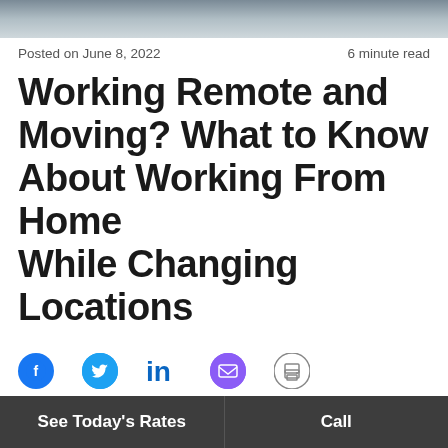[Figure (photo): Partial photo of a desk/office scene, cropped at top of page]
Posted on June 8, 2022	6 minute read
Working Remote and Moving? What to Know About Working From Home While Changing Locations
[Figure (infographic): Social share icons: Facebook, Twitter, LinkedIn, Email, Print]
WHAT'S IN THIS ARTICLE?
Moving and working from home
Jump ↓
See Today's Rates   Call